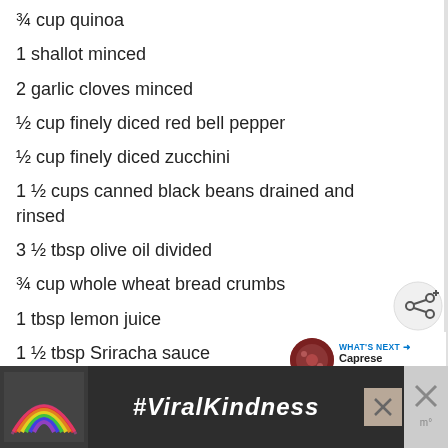¾ cup quinoa
1 shallot minced
2 garlic cloves minced
½ cup finely diced red bell pepper
½ cup finely diced zucchini
1 ½ cups canned black beans drained and rinsed
3 ½ tbsp olive oil divided
¾ cup whole wheat bread crumbs
1 tbsp lemon juice
1 ½ tbsp Sriracha sauce
¾ tsp salt
[Figure (other): Share button icon (circular button with share symbol)]
[Figure (other): What's Next promo panel showing Caprese Quinoa Bake with circular thumbnail image]
[Figure (other): Advertisement banner with rainbow illustration and #ViralKindness text on dark background]